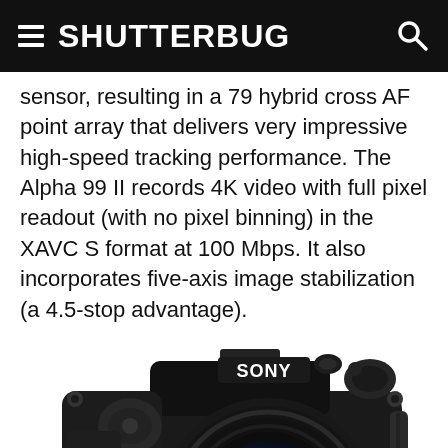SHUTTERBUG
sensor, resulting in a 79 hybrid cross AF point array that delivers very impressive high-speed tracking performance. The Alpha 99 II records 4K video with full pixel readout (with no pixel binning) in the XAVC S format at 100 Mbps. It also incorporates five-axis image stabilization (a 4.5-stop advantage).
[Figure (photo): Sony Alpha camera (Sony α a99 II or similar) DSLR with large lens, black body, photographed from front-left angle. SONY branding visible on top of camera body, alpha symbol on side.]